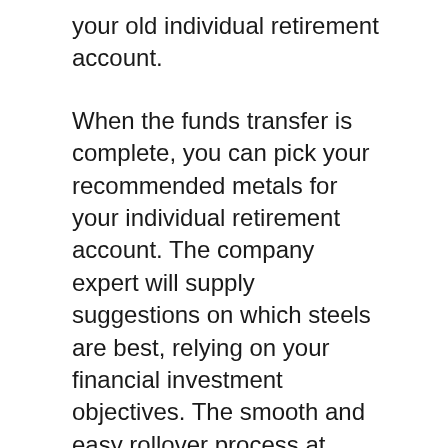your old individual retirement account.
When the funds transfer is complete, you can pick your recommended metals for your individual retirement account. The company expert will supply suggestions on which steels are best, relying on your financial investment objectives. The smooth and easy rollover process at Goldco can use up to 10 working days.
ALTERNATE BUYBACK PROGRAM
You invested in valuable metals for some reasons that are not valid now?
Offer your rare-earth element, as well as Goldco will redeem it. As well as the best part is you will certainly get a far better rate